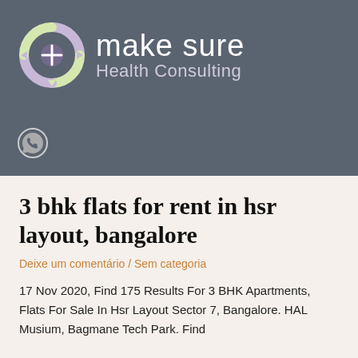[Figure (logo): Make Sure Health Consulting logo with circular arrows icon in light green and purple on dark grey background, with WhatsApp icon below]
3 bhk flats for rent in hsr layout, bangalore
Deixe um comentário / Sem categoria
17 Nov 2020, Find 175 Results For 3 BHK Apartments, Flats For Sale In Hsr Layout Sector 7, Bangalore. HAL Musium, Bagmane Tech Park. Find